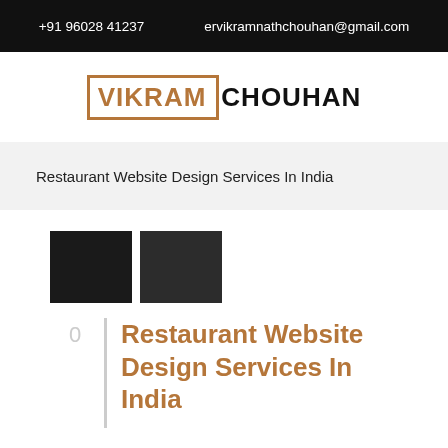+91 96028 41237   ervikramnathchouhan@gmail.com
[Figure (logo): VIKRAM CHOUHAN logo with VIKRAM in a bronze/orange bordered box and CHOUHAN in black]
Restaurant Website Design Services In India
[Figure (illustration): Two dark/black square thumbnail boxes side by side]
0
Restaurant Website Design Services In India